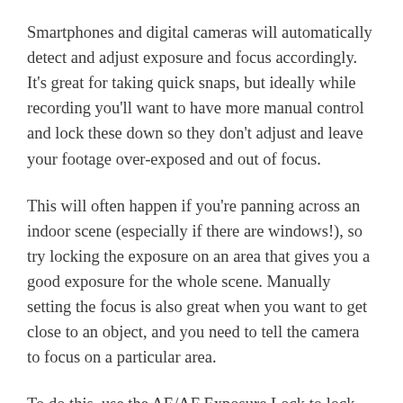Smartphones and digital cameras will automatically detect and adjust exposure and focus accordingly. It’s great for taking quick snaps, but ideally while recording you’ll want to have more manual control and lock these down so they don’t adjust and leave your footage over-exposed and out of focus.
This will often happen if you’re panning across an indoor scene (especially if there are windows!), so try locking the exposure on an area that gives you a good exposure for the whole scene. Manually setting the focus is also great when you want to get close to an object, and you need to tell the camera to focus on a particular area.
To do this, use the AE/AF Exposure Lock to lock focus. Frame your shot, then tap and hold your finger on the part of the image you want to stay in